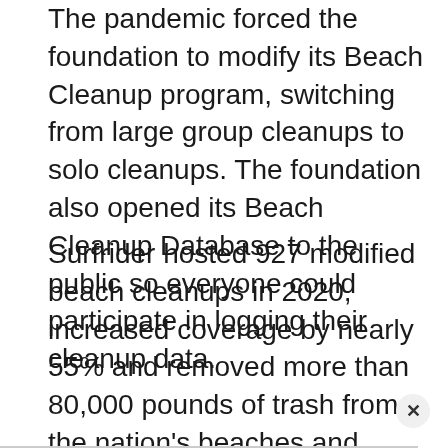The pandemic forced the foundation to modify its Beach Cleanup program, switching from large group cleanups to solo cleanups. The foundation also opened its Beach Cleanup Database to the public so everyone could participate in logging their cleanup data.
Surfrider hosted 927 modified beach cleanups in 2020, increased coverage by nearly 55% and removed more than 80,000 pounds of trash from the nation's beaches and waterways, according to the report.